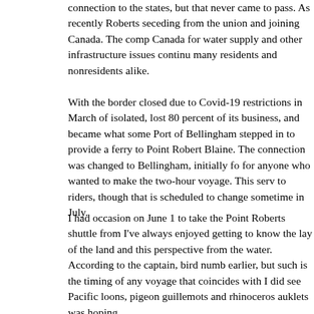connection to the states, but that never came to pass. As recently Roberts seceding from the union and joining Canada. The comp Canada for water supply and other infrastructure issues continu many residents and nonresidents alike.
With the border closed due to Covid-19 restrictions in March of isolated, lost 80 percent of its business, and became what some Port of Bellingham stepped in to provide a ferry to Point Robert Blaine. The connection was changed to Bellingham, initially fo for anyone who wanted to make the two-hour voyage. This serv to riders, though that is scheduled to change sometime in July.
I had occasion on June 1 to take the Point Roberts shuttle from I've always enjoyed getting to know the lay of the land and this perspective from the water. According to the captain, bird numb earlier, but such is the timing of any voyage that coincides with I did see Pacific loons, pigeon guillemots and rhinoceros auklets was hoping.